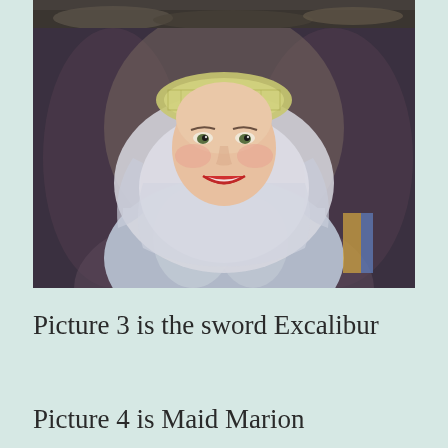[Figure (photo): Partial view of a dark image at the top of the page, appearing to show rocks or a dark outdoor scene]
[Figure (photo): A smiling woman dressed in medieval costume wearing a white veil/wimple headdress and a silver/grey satin dress, appearing to be from a film or TV production about the Middle Ages (Maid Marion character)]
Picture 3 is the sword Excalibur
Picture 4 is Maid Marion